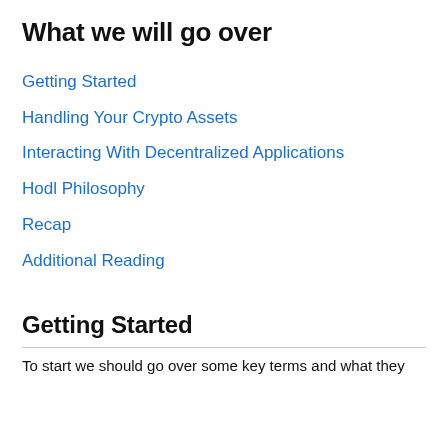What we will go over
Getting Started
Handling Your Crypto Assets
Interacting With Decentralized Applications
Hodl Philosophy
Recap
Additional Reading
Getting Started
To start we should go over some key terms and what they